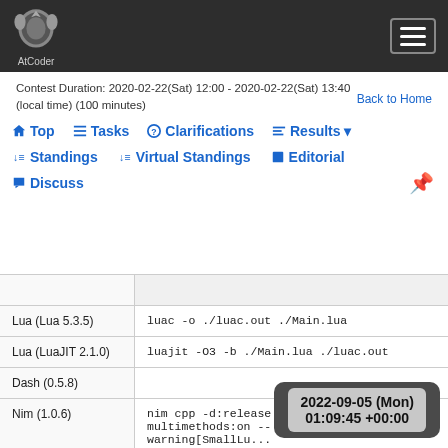AtCoder
Contest Duration: 2020-02-22(Sat) 12:00 - 2020-02-22(Sat) 13:40 (local time) (100 minutes)
Back to Home
Top   Tasks   Clarifications   Results   Standings   Virtual Standings   Editorial   Discuss
|  |  |
| --- | --- |
| Lua (Lua 5.3.5) | luac -o ./luac.out ./Main.lua |
| Lua (LuaJIT 2.1.0) | luajit -O3 -b ./Main.lua ./luac.out |
| Dash (0.5.8) |  |
| Nim (1.0.6) | nim cpp -d:release --multimethods:on --warning[SmallLu...]... |
2022-09-05 (Mon) 01:09:45 +00:00